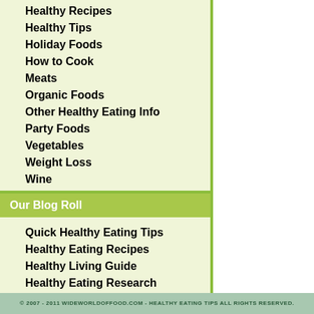Healthy Recipes
Healthy Tips
Holiday Foods
How to Cook
Meats
Organic Foods
Other Healthy Eating Info
Party Foods
Vegetables
Weight Loss
Wine
Our Blog Roll
Quick Healthy Eating Tips
Healthy Eating Recipes
Healthy Living Guide
Healthy Eating Research
Healthy Eating For Teens
© 2007 - 2011 WIDEWORLDOFFOOD.COM - HEALTHY EATING TIPS ALL RIGHTS RESERVED.